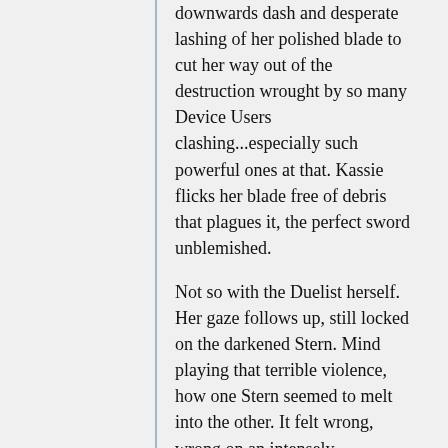downwards dash and desperate lashing of her polished blade to cut her way out of the destruction wrought by so many Device Users clashing...especially such powerful ones at that. Kassie flicks her blade free of debris that plagues it, the perfect sword unblemished.
Not so with the Duelist herself. Her gaze follows up, still locked on the darkened Stern. Mind playing that terrible violence, how one Stern seemed to melt into the other. It felt wrong, wrong on an intensely uncomfortable level. She wasn't one to use such words, but all Kasagami could think of was 'blasphemy' as her mind refused to let her turn itself away.
No matter how her stomach felt sick. Her arms and legs felt weak, her heart hammering in her chest a thousand